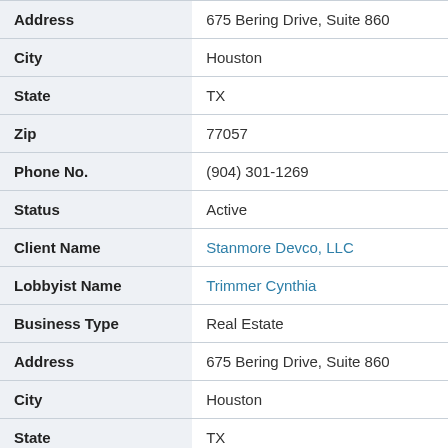| Field | Value |
| --- | --- |
| Address | 675 Bering Drive, Suite 860 |
| City | Houston |
| State | TX |
| Zip | 77057 |
| Phone No. | (904) 301-1269 |
| Status | Active |
| Client Name | Stanmore Devco, LLC |
| Lobbyist Name | Trimmer Cynthia |
| Business Type | Real Estate |
| Address | 675 Bering Drive, Suite 860 |
| City | Houston |
| State | TX |